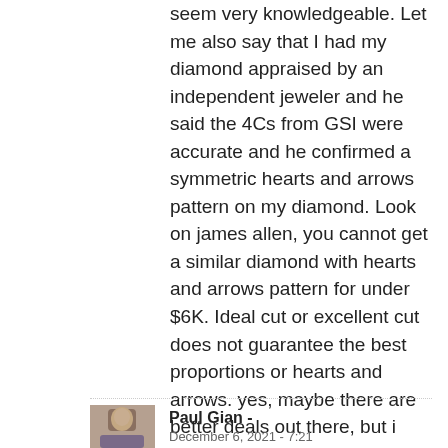seem very knowledgeable. Let me also say that I had my diamond appraised by an independent jeweler and he said the 4Cs from GSI were accurate and he confirmed a symmetric hearts and arrows pattern on my diamond. Look on james allen, you cannot get a similar diamond with hearts and arrows pattern for under $6K. Ideal cut or excellent cut does not guarantee the best proportions or hearts and arrows. yes, maybe there are better deals out there, but i trust my own eyes and do think this I1 diamond looked much better than many SI diamonds I examined.
Paul Gian -